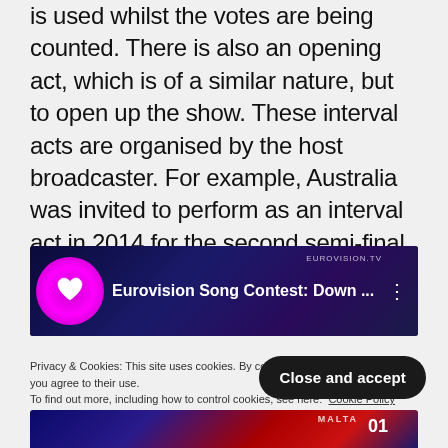is used whilst the votes are being counted. There is also an opening act, which is of a similar nature, but to open up the show. These interval acts are organised by the host broadcaster. For example, Australia was invited to perform as an interval act in 2014 for the second semi-final, which is where we sent Jessica Mauboy to sing 'Sea of Flags.'
[Figure (screenshot): Eurovision Song Contest video thumbnail with heart logo and title 'Eurovision Song Contest: Down ...' on dark blue background with EUROVISION.TV branding]
Privacy & Cookies: This site uses cookies. By continuing to use this website, you agree to their use. To find out more, including how to control cookies, see here: Cookie Policy
[Figure (screenshot): Bottom thumbnail showing a stage with lights, MALTA label and number 01]